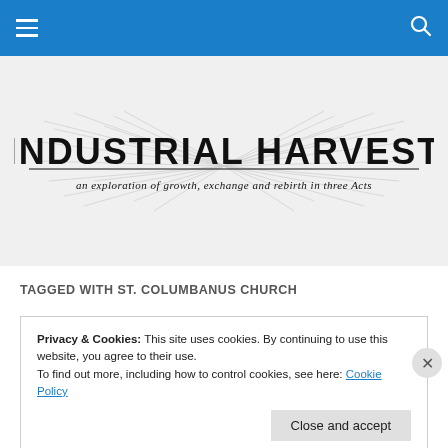Navigation bar with hamburger menu and search icon
[Figure (logo): Industrial Harvest logo with wheat/feather decorative elements on both sides. Large bold text 'INDUSTRIAL HARVEST' with italic subtitle 'an exploration of growth, exchange and rebirth in three Acts']
TAGGED WITH ST. COLUMBANUS CHURCH
Privacy & Cookies: This site uses cookies. By continuing to use this website, you agree to their use.
To find out more, including how to control cookies, see here: Cookie Policy
Close and accept